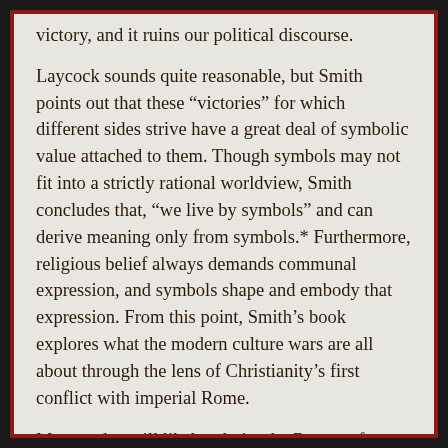victory, and it ruins our political discourse.
Laycock sounds quite reasonable, but Smith points out that these “victories” for which different sides strive have a great deal of symbolic value attached to them. Though symbols may not fit into a strictly rational worldview, Smith concludes that, “we live by symbols” and can derive meaning only from symbols.* Furthermore, religious belief always demands communal expression, and symbols shape and embody that expression. From this point, Smith’s book explores what the modern culture wars are all about through the lens of Christianity’s first conflict with imperial Rome.
Many today will likely admire the Romans for their tolerance, and wonder why Christians could not accommodate themselves to Rome